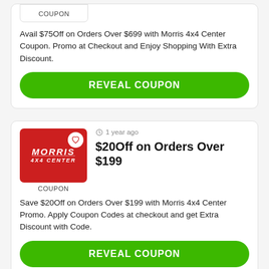[Figure (other): Partial coupon card top: Morris 4x4 Center coupon image stub with COUPON label]
Avail $75Off on Orders Over $699 with Morris 4x4 Center Coupon. Promo at Checkout and Enjoy Shopping With Extra Discount.
REVEAL COUPON
[Figure (other): Morris 4x4 Center coupon card image with red background, white heart icon, Morris 4x4 Center logo, labeled COUPON]
1 year ago
$20Off on Orders Over $199
Save $20Off on Orders Over $199 with Morris 4x4 Center Promo. Apply Coupon Codes at checkout and get Extra Discount with Code.
REVEAL COUPON